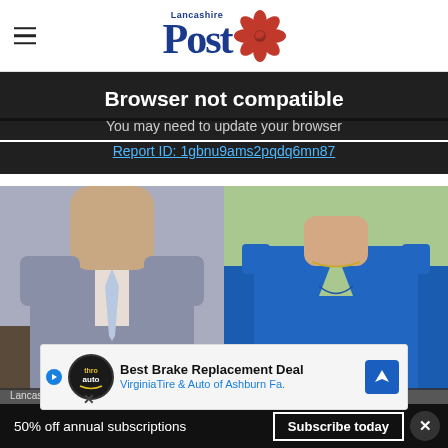Lancashire Post
Browser not compatible
You may need to update your browser
Report ID: 1gbnu9ams2pqdq6mn87
[Figure (photo): Two people side by side: left shows a man in a grey suit with a light blue tie; right shows a woman in a blue sleeveless dress with a gold necklace.]
Lancashire ... nole Ridgwell
Best Brake Replacement Deal VirginiaTire & Auto of Ashburn Fa.
50% off annual subscriptions
Subscribe today